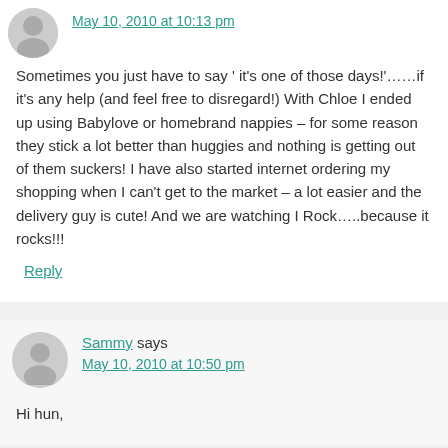May 10, 2010 at 10:13 pm
Sometimes you just have to say ' it's one of those days!'……if it's any help (and feel free to disregard!) With Chloe I ended up using Babylove or homebrand nappies – for some reason they stick a lot better than huggies and nothing is getting out of them suckers! I have also started internet ordering my shopping when I can't get to the market – a lot easier and the delivery guy is cute! And we are watching I Rock…..because it rocks!!!
Reply
Sammy says
May 10, 2010 at 10:50 pm
Hi hun,